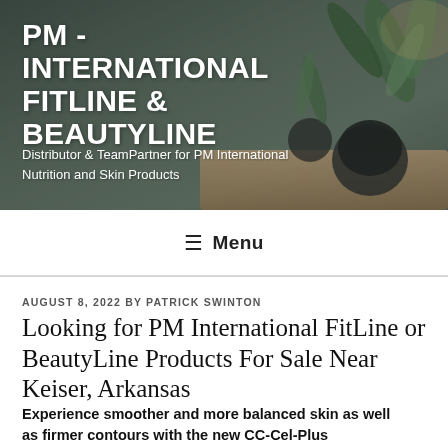[Figure (photo): Website header banner with blurred photo of potted plants on a table, serving as background for site title and tagline text overlay.]
PM -INTERNATIONAL FITLINE & BEAUTYLINE
Distributor & TeamPartner for PM International Nutrition and Skin Products
☰ Menu
AUGUST 8, 2022 BY PATRICK SWINTON
Looking for PM International FitLine or BeautyLine Products For Sale Near Keiser, Arkansas
Experience smoother and more balanced skin as well as firmer contours with the new CC-Cel-Plus Lotion